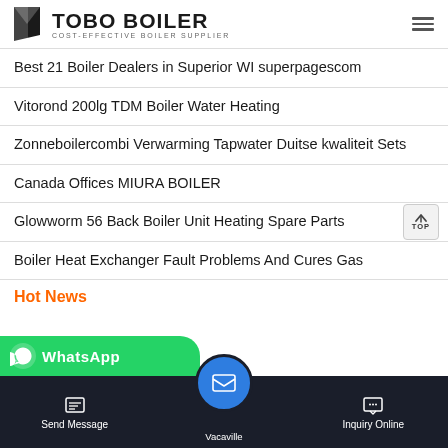TOBO BOILER - COST-EFFECTIVE BOILER SUPPLIER
Best 21 Boiler Dealers in Superior WI superpagescom
Vitorond 200lg TDM Boiler Water Heating
Zonneboilercombi Verwarming Tapwater Duitse kwaliteit Sets
Canada Offices MIURA BOILER
Glowworm 56 Back Boiler Unit Heating Spare Parts
Boiler Heat Exchanger Fault Problems And Cures Gas
Hot News
[Figure (screenshot): WhatsApp contact bar in green]
Send Message | Vacaville | Inquiry Online